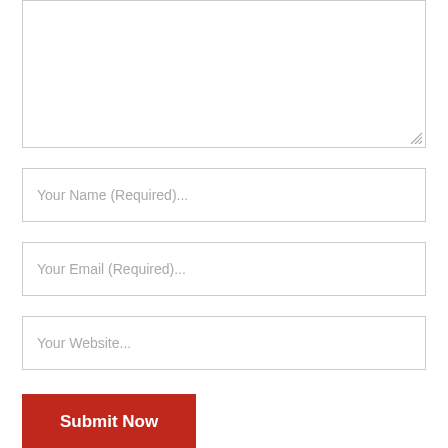[Figure (screenshot): Textarea form field with resize handle at bottom right]
Your Name (Required)...
Your Email (Required)...
Your Website...
Submit Now
ABOUT US
If you intend to be in the IT industry or want to ensure that you be the latest technology, then you need to make the commitment to g...